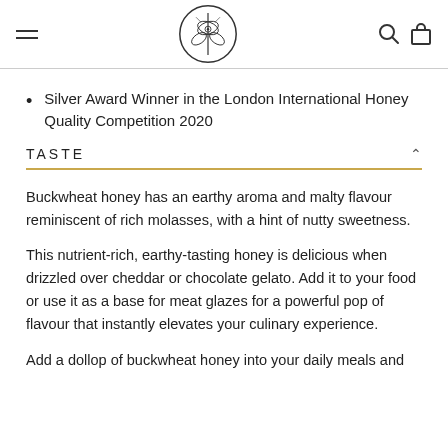[navigation header with logo and icons]
Silver Award Winner in the London International Honey Quality Competition 2020
TASTE
Buckwheat honey has an earthy aroma and malty flavour reminiscent of rich molasses, with a hint of nutty sweetness.
This nutrient-rich, earthy-tasting honey is delicious when drizzled over cheddar or chocolate gelato. Add it to your food or use it as a base for meat glazes for a powerful pop of flavour that instantly elevates your culinary experience.
Add a dollop of buckwheat honey into your daily meals and